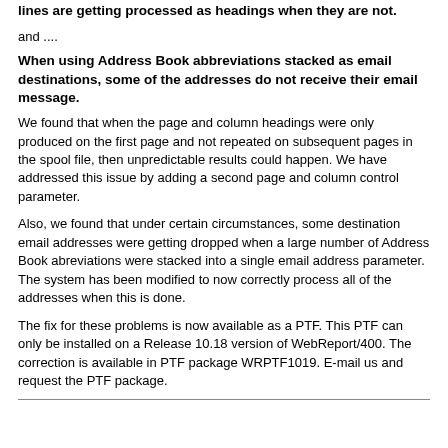lines are getting processed as headings when they are not.
and ....
When using Address Book abbreviations stacked as email destinations, some of the addresses do not receive their email message.
We found that when the page and column headings were only produced on the first page and not repeated on subsequent pages in the spool file, then unpredictable results could happen. We have addressed this issue by adding a second page and column control parameter.
Also, we found that under certain circumstances, some destination email addresses were getting dropped when a large number of Address Book abreviations were stacked into a single email address parameter. The system has been modified to now correctly process all of the addresses when this is done.
The fix for these problems is now available as a PTF. This PTF can only be installed on a Release 10.18 version of WebReport/400. The correction is available in PTF package WRPTF1019. E-mail us and request the PTF package.